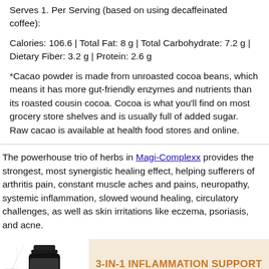Serves 1. Per Serving (based on using decaffeinated coffee):
Calories: 106.6 | Total Fat: 8 g | Total Carbohydrate: 7.2 g | Dietary Fiber: 3.2 g | Protein: 2.6 g
*Cacao powder is made from unroasted cocoa beans, which means it has more gut-friendly enzymes and nutrients than its roasted cousin cocoa. Cocoa is what you'll find on most grocery store shelves and is usually full of added sugar. Raw cacao is available at health food stores and online.
The powerhouse trio of herbs in Magi-Complexx provides the strongest, most synergistic healing effect, helping sufferers of arthritis pain, constant muscle aches and pains, neuropathy, systemic inflammation, slowed wound healing, circulatory challenges, as well as skin irritations like eczema, psoriasis, and acne.
[Figure (illustration): Bottle of Magi-Complexx supplement with decorative herbal illustration background]
3-IN-1 INFLAMMATION SUPPORT